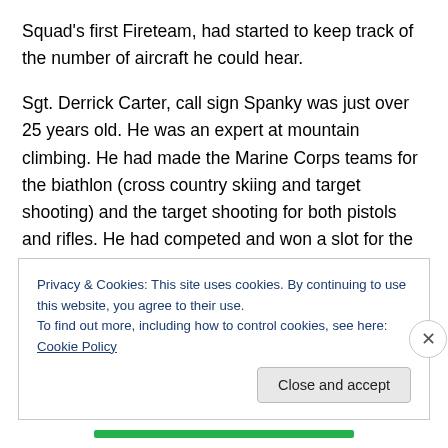Squad's first Fireteam, had started to keep track of the number of aircraft he could hear.
Sgt. Derrick Carter, call sign Spanky was just over 25 years old. He was an expert at mountain climbing. He had made the Marine Corps teams for the biathlon (cross country skiing and target shooting) and the target shooting for both pistols and rifles. He had competed and won a slot for the US Olympic team for all three events. When out of the field he could always be found with his men doing some sort of group sport or activity. His jet black hair
Privacy & Cookies: This site uses cookies. By continuing to use this website, you agree to their use.
To find out more, including how to control cookies, see here: Cookie Policy